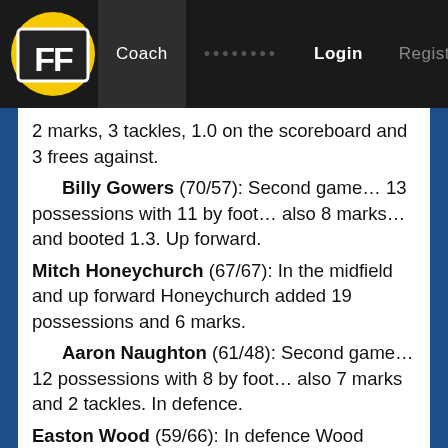FF Coach ••••••••  Login  Register
2 marks, 3 tackles, 1.0 on the scoreboard and 3 frees against.
Billy Gowers (70/57): Second game… 13 possessions with 11 by foot… also 8 marks… and booted 1.3. Up forward.
Mitch Honeychurch (67/67): In the midfield and up forward Honeychurch added 19 possessions and 6 marks.
Aaron Naughton (61/48): Second game… 12 possessions with 8 by foot… also 7 marks and 2 tackles. In defence.
Easton Wood (59/66): In defence Wood added 12 disposals and 9 marks.
Luke Dahlhaus (58/51): In the midfield